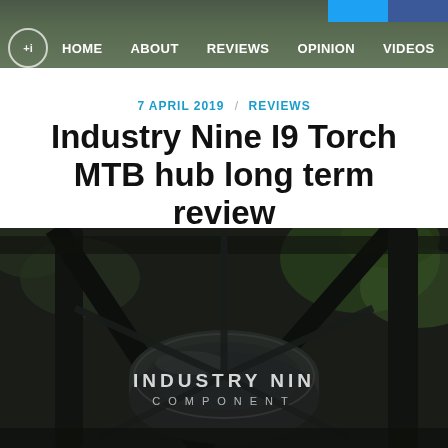HOME  ABOUT  REVIEWS  OPINION  VIDEOS  SUS
7 APRIL 2019 / REVIEWS
Industry Nine I9 Torch MTB hub long term review
[Figure (photo): Close-up photograph of an Industry Nine bicycle hub component labeled 'INDUSTRY NINE COMPONENTS', mounted in a dark bike frame with spokes, with green foliage visible in the background]